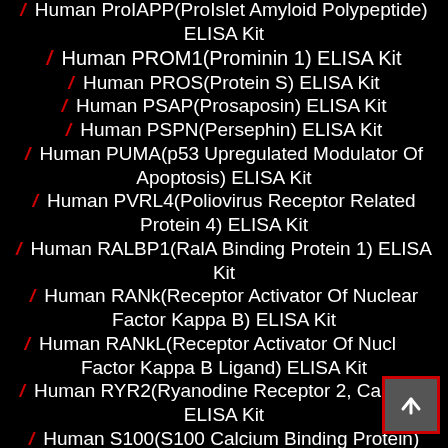/ Human ProIAPP(ProIslet Amyloid Polypeptide) ELISA Kit
/ Human PROM1(Prominin 1) ELISA Kit
/ Human PROS(Protein S) ELISA Kit
/ Human PSAP(Prosaposin) ELISA Kit
/ Human PSPN(Persephin) ELISA Kit
/ Human PUMA(p53 Upregulated Modulator Of Apoptosis) ELISA Kit
/ Human PVRL4(Poliovirus Receptor Related Protein 4) ELISA Kit
/ Human RALBP1(RalA Binding Protein 1) ELISA Kit
/ Human RANk(Receptor Activator Of Nuclear Factor Kappa B) ELISA Kit
/ Human RANkL(Receptor Activator Of Nuclear Factor Kappa B Ligand) ELISA Kit
/ Human RYR2(Ryanodine Receptor 2, Cardiac) ELISA Kit
/ Human S100(S100 Calcium Binding Protein)